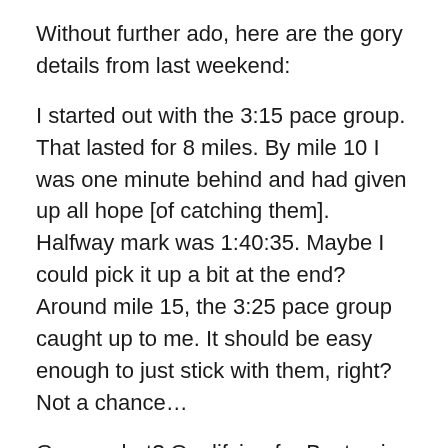Without further ado, here are the gory details from last weekend:
I started out with the 3:15 pace group. That lasted for 8 miles. By mile 10 I was one minute behind and had given up all hope [of catching them]. Halfway mark was 1:40:35. Maybe I could pick it up a bit at the end? Around mile 15, the 3:25 pace group caught up to me. It should be easy enough to just stick with them, right? Not a chance…
Guess what? Qualifying for Boston is hard at ANY age. I was pretty disappointed last Sunday, but in a way I'm glad I didn't make it. I mean, if I had actually qualified the first time I really tried what life lessons would I learn?
Having said that, I'm far happier with my 3:38:03 than I would have been with 3:25:03. That would have been a HUGE life lesson…